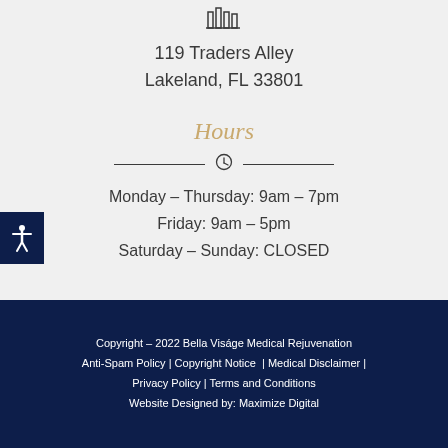[Figure (logo): Small logo icon at top center — appears to be a stylized building/columns icon]
119 Traders Alley
Lakeland, FL 33801
Hours
Monday – Thursday: 9am – 7pm
Friday: 9am – 5pm
Saturday – Sunday: CLOSED
Copyright – 2022 Bella Viságe Medical Rejuvenation
Anti-Spam Policy | Copyright Notice | Medical Disclaimer |
Privacy Policy | Terms and Conditions
Website Designed by: Maximize Digital